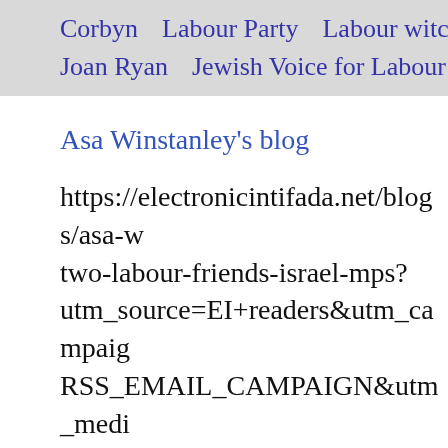Corbyn   Labour Party   Labour witc
Joan Ryan   Jewish Voice for Labour
Asa Winstanley's blog
https://electronicintifada.net/blogs/asa-w two-labour-friends-israel-mps? utm_source=EI+readers&utm_campaig RSS_EMAIL_CAMPAIGN&utm_medi 220c4e79f7-287031681